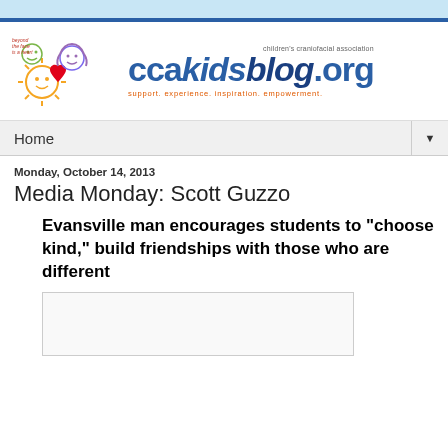[Figure (logo): CCA Kids Blog logo with children's craniofacial association branding and illustrated children characters]
Home
Monday, October 14, 2013
Media Monday: Scott Guzzo
Evansville man encourages students to "choose kind," build friendships with those who are different
[Figure (photo): Photo placeholder at bottom of article]